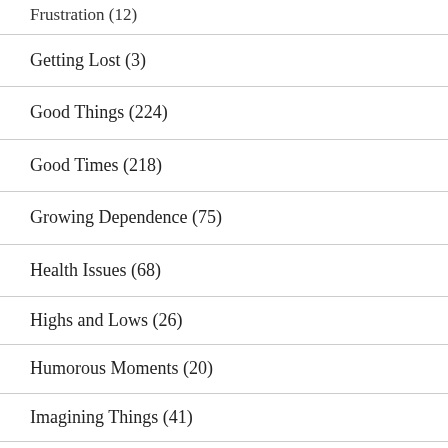Frustration (12)
Getting Lost (3)
Good Things (224)
Good Times (218)
Growing Dependence (75)
Health Issues (68)
Highs and Lows (26)
Humorous Moments (20)
Imagining Things (41)
In-home Care (77)
Irritability (9)
Issues with Dad (21)